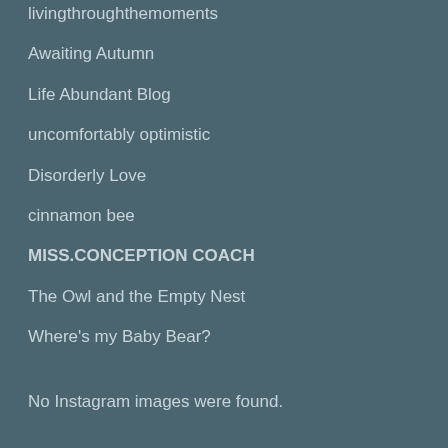livingthroughthemoments
Awaiting Autumn
Life Abundant Blog
uncomfortably optimistic
Disorderly Love
cinnamon bee
MISS.CONCEPTION COACH
The Owl and the Empty Nest
Where's my Baby Bear?
No Instagram images were found.